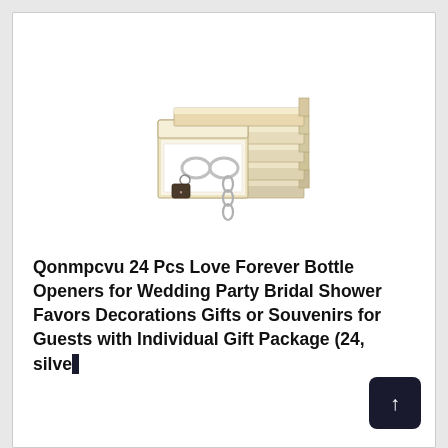[Figure (photo): Stack of small gift boxes containing infinity symbol bottle openers, with one box open showing silver infinity-shaped bottle opener and decorative tag]
Qonmpcvu 24 Pcs Love Forever Bottle Openers for Wedding Party Bridal Shower Favors Decorations Gifts or Souvenirs for Guests with Individual Gift Package (24, silver